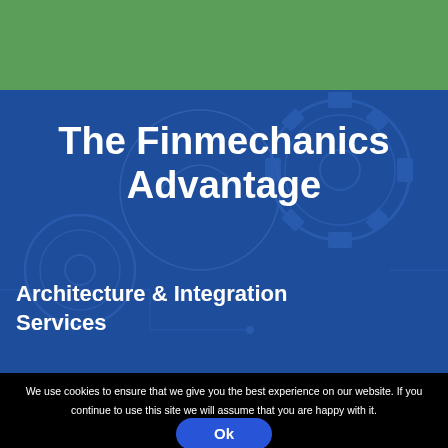[Figure (illustration): Green header banner at top of page]
The Finmechanics Advantage
Architecture & Integration Services
We use cookies to ensure that we give you the best experience on our website. If you continue to use this site we will assume that you are happy with it.
Ok